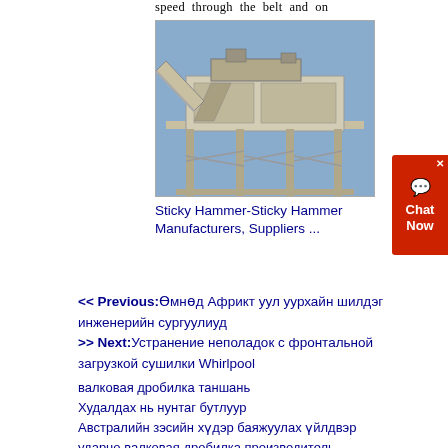speed through the belt and on
[Figure (photo): Industrial sticky hammer or crushing/screening machine on elevated steel frame structure, outdoor setting with blue sky background]
Sticky Hammer-Sticky Hammer Manufacturers, Suppliers ...
<< Previous:Өмнөд Африкт уул уурхайн шилдэг инженерийн сургуулиуд
>> Next:Устранение неполадок с фронтальной загрузкой сушилки Whirlpool
валковая дробилка таншань
Худалдах нь нунтаг бутлуур
Австралийн зэсийн хүдэр баяжуулах үйлдвэр
ударно валковая дробилка производитель
основные требования к конструкции дробильной